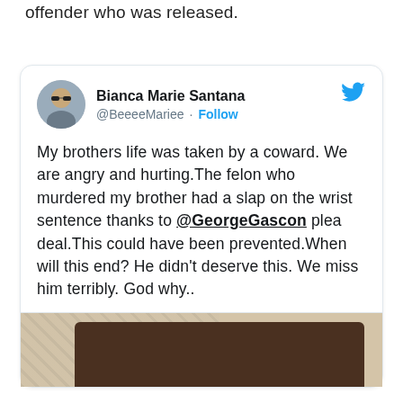police officers were murdered by a repeat offender who was released.
[Figure (screenshot): Tweet from Bianca Marie Santana (@BeeeeMariee) with Follow button and Twitter bird logo. Tweet text: 'My brothers life was taken by a coward. We are angry and hurting.The felon who murdered my brother had a slap on the wrist sentence thanks to @GeorgeGascon plea deal.This could have been prevented.When will this end? He didn't deserve this. We miss him terribly. God why..' Followed by a partial photo of what appears to be a dark cylindrical object.]